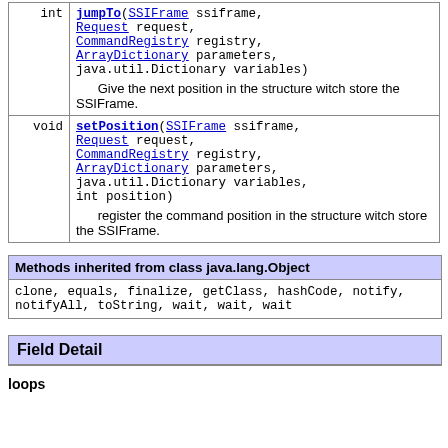| type | method |
| --- | --- |
| int | jumpTo(SSIFrame ssiframe, Request request, CommandRegistry registry, ArrayDictionary parameters, java.util.Dictionary variables)
  Give the next position in the structure witch store the SSIFrame. |
| void | setPosition(SSIFrame ssiframe, Request request, CommandRegistry registry, ArrayDictionary parameters, java.util.Dictionary variables, int position)
  register the command position in the structure witch store the SSIFrame. |
| Methods inherited from class java.lang.Object |
| --- |
| clone, equals, finalize, getClass, hashCode, notify, notifyAll, toString, wait, wait, wait |
Field Detail
loops